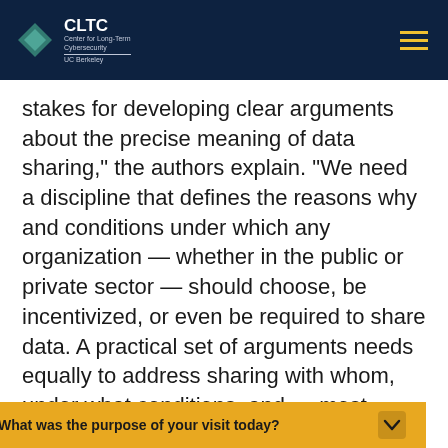CLTC | Center for Long-Term Cybersecurity | UC Berkeley
stakes for developing clear arguments about the precise meaning of data sharing," the authors explain. "We need a discipline that defines the reasons why and conditions under which any organization — whether in the public or private sector — should choose, be incentivized, or even be required to share data. A practical set of arguments needs equally to address sharing with whom, under what conditions, and — most importantly — to what purposes."
The paper also includes diverse case studies examin data
What was the purpose of your visit today?